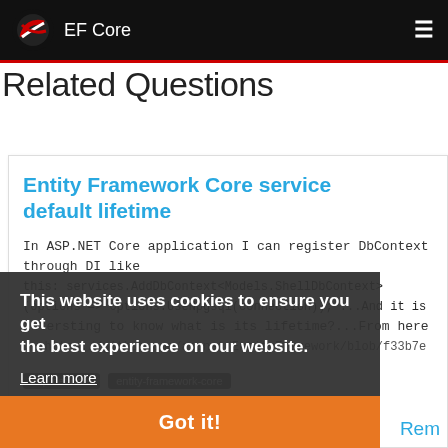EF Core
Related Questions
Entity Framework Core service default lifetime
In ASP.NET Core application I can register DbContext through DI like this: services.AddDbContext<Models.ShellDbContext>(options => options.UseNpgsql(connection)); ...And it is intersting to know what is its lifetime?...From here ...https://github.com/aspnet/EntityFramework/blob/f33b7e
asp.net-core
entity-framework-core
This website uses cookies to ensure you get the best experience on our website.
Learn more
Got it!
Rem